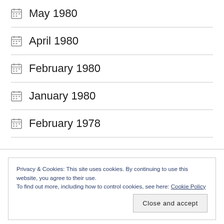May 1980
April 1980
February 1980
January 1980
February 1978
Privacy & Cookies: This site uses cookies. By continuing to use this website, you agree to their use.
To find out more, including how to control cookies, see here: Cookie Policy
Close and accept